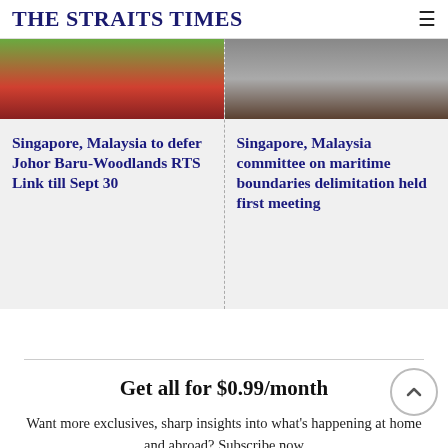THE STRAITS TIMES
[Figure (photo): Left news article photo showing flowers and red plants]
Singapore, Malaysia to defer Johor Baru-Woodlands RTS Link till Sept 30
[Figure (photo): Right news article photo showing a ship on water and dark foliage]
Singapore, Malaysia committee on maritime boundaries delimitation held first meeting
Get all for $0.99/month
Want more exclusives, sharp insights into what's happening at home and abroad? Subscribe now